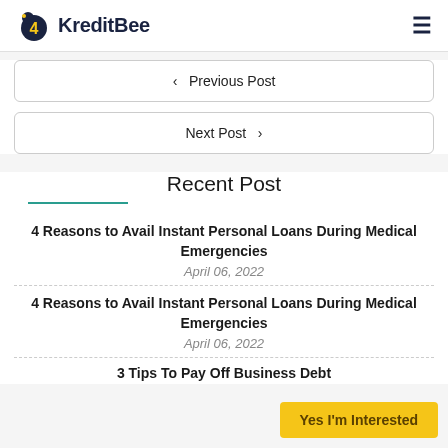KreditBee
< Previous Post
Next Post >
Recent Post
4 Reasons to Avail Instant Personal Loans During Medical Emergencies
April 06, 2022
4 Reasons to Avail Instant Personal Loans During Medical Emergencies
April 06, 2022
3 Tips To Pay Off Business Debt
Yes I'm Interested